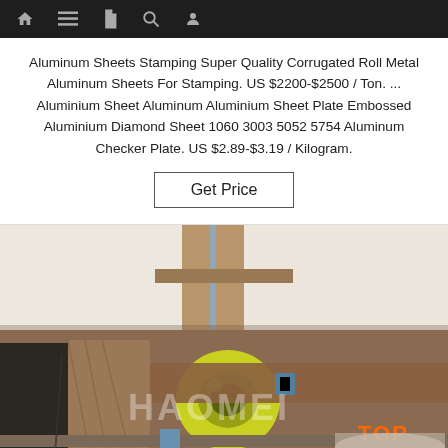[navigation bar with home, menu, document, search, and profile icons]
Aluminum Sheets Stamping Super Quality Corrugated Roll Metal Aluminum Sheets For Stamping. US $2200-$2500 / Ton. ... Aluminium Sheet Aluminum Aluminium Sheet Plate Embossed Aluminium Diamond Sheet 1060 3003 5052 5754 Aluminum Checker Plate. US $2.89-$3.19 / Kilogram.
[Figure (other): Get Price button (bordered rectangle button)]
[Figure (photo): Photo of packaged aluminum sheets/rolls with strapping, tape roll visible, and HAOMEI watermark logo with TOP branding in orange at bottom right]